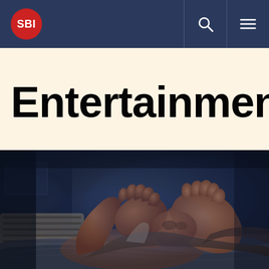SBI
Entertainment
[Figure (photo): A person lying in bed in a dark room, covering their face with both hands, appearing distressed or tired. Dark blue ambient lighting with a dimly lit background.]